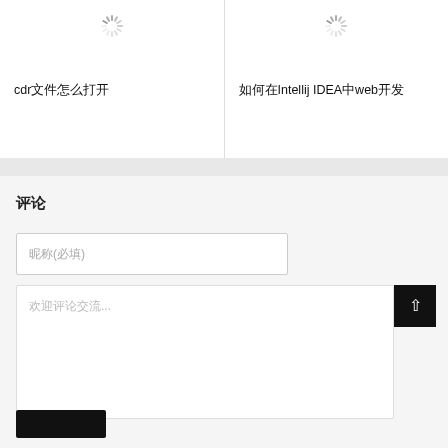[Figure (screenshot): Loading spinner icon in top-left card area]
cdr文件怎么打开
[Figure (screenshot): Loading spinner icon in top-right card area]
如何在Intellij IDEA中web开发
评论
昵称(必填)
欢迎评论交流...